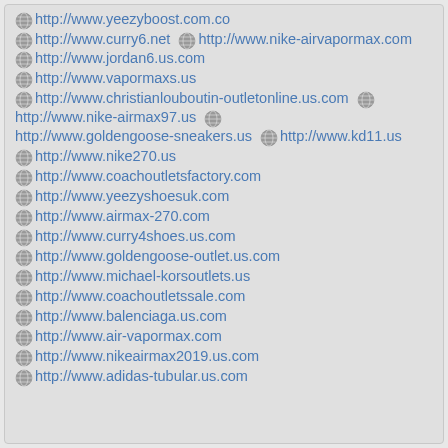http://www.yeezyboost.com.co
http://www.curry6.net  http://www.nike-airvapormax.com  http://www.jordan6.us.com
http://www.vapormaxs.us
http://www.christianlouboutin-outletonline.us.com  http://www.nike-airmax97.us  http://www.goldengoose-sneakers.us  http://www.kd11.us
http://www.nike270.us
http://www.coachoutletsfactory.com
http://www.yeezyshoesuk.com
http://www.airmax-270.com
http://www.curry4shoes.us.com
http://www.goldengoose-outlet.us.com
http://www.michael-korsoutlets.us
http://www.coachoutletssale.com
http://www.balenciaga.us.com
http://www.air-vapormax.com
http://www.nikeairmax2019.us.com
http://www.adidas-tubular.us.com